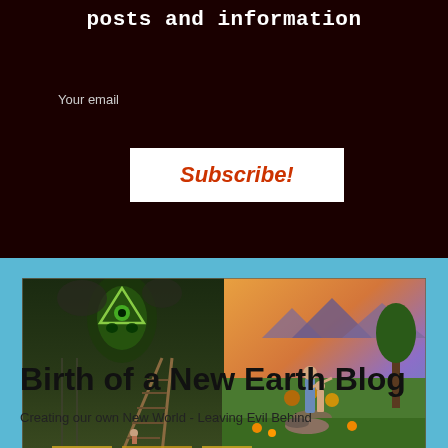posts and information
Your email
Subscribe!
[Figure (illustration): A large mural painting depicting a dystopian left side with a green glowing skull-like figure with an all-seeing eye triangle, dark smoke, railroad tracks with people on them, and a utopian right side showing a man and child standing on rocks overlooking a colorful sunset landscape with mountains, flowers, and trees.]
Birth of a New Earth Blog
Creating our own New World - Leaving Evil Behind